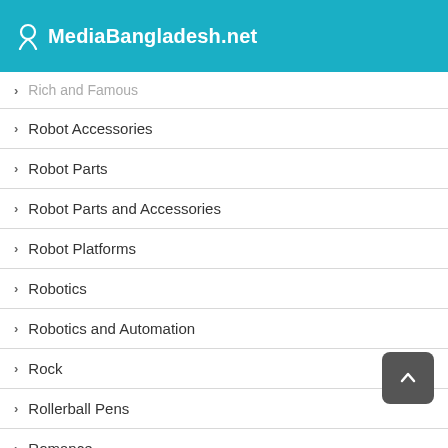MediaBangladesh.net
Rich and Famous
Robot Accessories
Robot Parts
Robot Parts and Accessories
Robot Platforms
Robotics
Robotics and Automation
Rock
Rollerball Pens
Romance